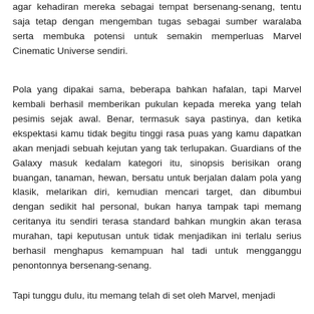agar kehadiran mereka sebagai tempat bersenang-senang, tentu saja tetap dengan mengemban tugas sebagai sumber waralaba serta membuka potensi untuk semakin memperluas Marvel Cinematic Universe sendiri.
Pola yang dipakai sama, beberapa bahkan hafalan, tapi Marvel kembali berhasil memberikan pukulan kepada mereka yang telah pesimis sejak awal. Benar, termasuk saya pastinya, dan ketika ekspektasi kamu tidak begitu tinggi rasa puas yang kamu dapatkan akan menjadi sebuah kejutan yang tak terlupakan. Guardians of the Galaxy masuk kedalam kategori itu, sinopsis berisikan orang buangan, tanaman, hewan, bersatu untuk berjalan dalam pola yang klasik, melarikan diri, kemudian mencari target, dan dibumbui dengan sedikit hal personal, bukan hanya tampak tapi memang ceritanya itu sendiri terasa standard bahkan mungkin akan terasa murahan, tapi keputusan untuk tidak menjadikan ini terlalu serius berhasil menghapus kemampuan hal tadi untuk mengganggu penontonnya bersenang-senang.
Tapi tunggu dulu, itu memang telah di set oleh Marvel, menjadi